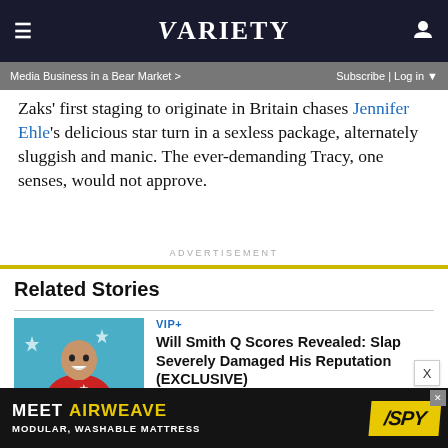VARIETY — navigation bar with hamburger menu and user icon
Media Business in a Bear Market > | Subscribe | Log in
Zaks' first staging to originate in Britain chases Jennifer Ehle's delicious star turn in a sexless package, alternately sluggish and manic. The ever-demanding Tracy, one senses, would not approve.
ADVERTISEMENT
Related Stories
VIP+
Will Smith Q Scores Revealed: Slap Severely Damaged His Reputation (EXCLUSIVE)
[Figure (photo): Photo of Will Smith smiling, wearing a red jacket, with star decorations in the background]
[Figure (other): Bottom advertisement: MEET AIRWEAVE - MODULAR, WASHABLE MATTRESS featuring SPY logo in yellow]